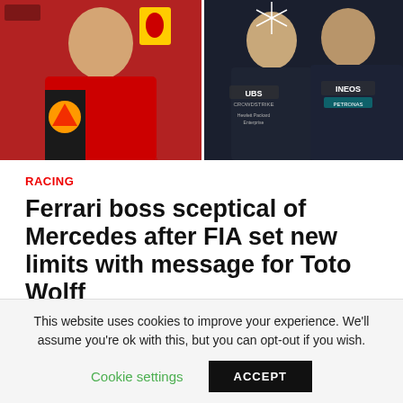[Figure (photo): Two side-by-side photos: left shows a Ferrari team member in red Scuderia Ferrari uniform with Shell and Santander logos; right shows Mercedes team members in dark AMG Petronas uniforms with UBS, INEOS, Crowdstrike, and Hewlett Packard logos.]
RACING
Ferrari boss sceptical of Mercedes after FIA set new limits with message for Toto Wolff
2022-06-21 / mediabest
We use your sign-up to provide content in ways you've
This website uses cookies to improve your experience. We'll assume you're ok with this, but you can opt-out if you wish.
Cookie settings  ACCEPT